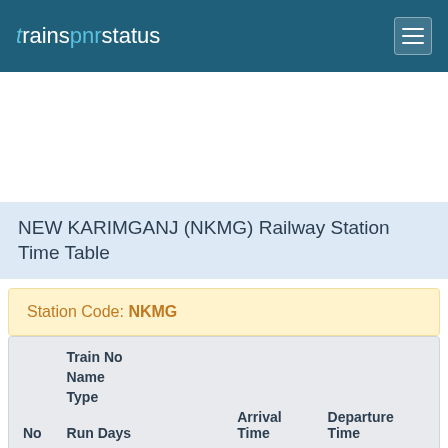trainspnrstatus
NEW KARIMGANJ (NKMG) Railway Station Time Table
Station Code: NKMG
| No | Train No
Name
Type
Run Days | Arrival
Time | Departure
Time |
| --- | --- | --- | --- |